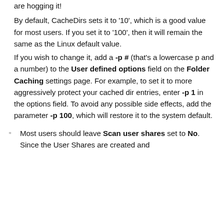are hogging it!
By default, CacheDirs sets it to '10', which is a good value for most users. If you set it to '100', then it will remain the same as the Linux default value.
If you wish to change it, add a -p # (that's a lowercase p and a number) to the User defined options field on the Folder Caching settings page. For example, to set it to more aggressively protect your cached dir entries, enter -p 1 in the options field. To avoid any possible side effects, add the parameter -p 100, which will restore it to the system default.
Most users should leave Scan user shares set to No. Since the User Shares are created and